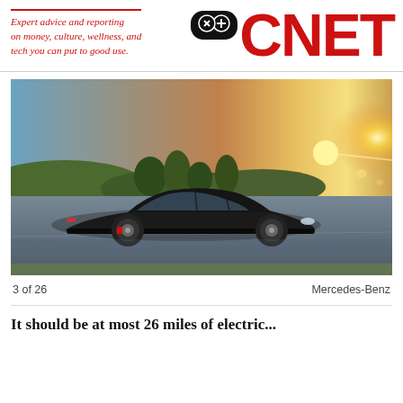Expert advice and reporting on money, culture, wellness, and tech you can put to good use.
[Figure (logo): CNET logo in bold red with a small game controller icon badge in the top right]
[Figure (photo): A black Mercedes-Benz sedan driving on a road at sunset with rolling hills and trees in the background and golden lens flare light]
3 of 26    Mercedes-Benz
It should be at most 26 miles of electric...